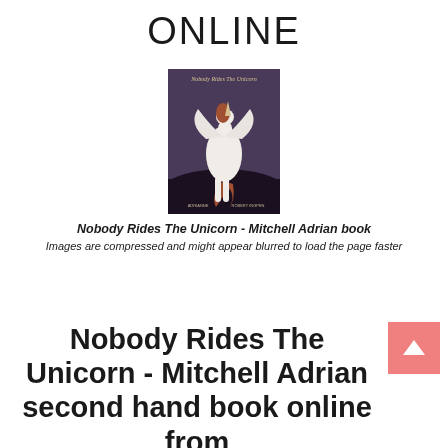ONLINE
[Figure (photo): Book cover of 'Nobody Rides The Unicorn' by Mitchell Adrian, showing a white unicorn from behind against a dark background.]
Nobody Rides The Unicorn - Mitchell Adrian book
Images are compressed and might appear blurred to load the page faster
Nobody Rides The Unicorn - Mitchell Adrian second hand book online from